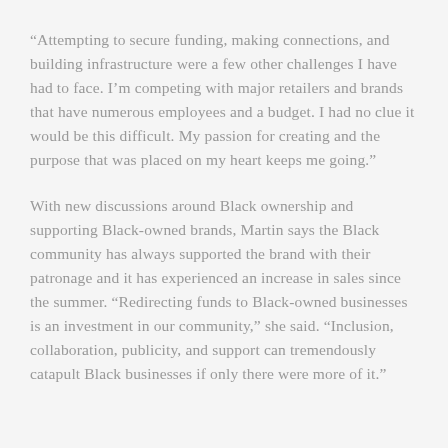“Attempting to secure funding, making connections, and building infrastructure were a few other challenges I have had to face. I’m competing with major retailers and brands that have numerous employees and a budget. I had no clue it would be this difficult. My passion for creating and the purpose that was placed on my heart keeps me going.”
With new discussions around Black ownership and supporting Black-owned brands, Martin says the Black community has always supported the brand with their patronage and it has experienced an increase in sales since the summer. “Redirecting funds to Black-owned businesses is an investment in our community,” she said. “Inclusion, collaboration, publicity, and support can tremendously catapult Black businesses if only there were more of it.”